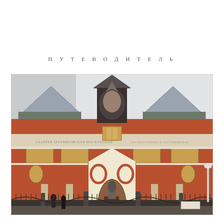ПУТЕВОДИТЕЛЬ
[Figure (photo): Facade of the Tretyakov Gallery building in Moscow — a red-brick Russian Revival style building with ornate white decorative trim, pointed arched entrance, glass greenhouse roof structures, decorative mosaic frieze, and iron fence in the foreground with a statue visible at the entrance gate]